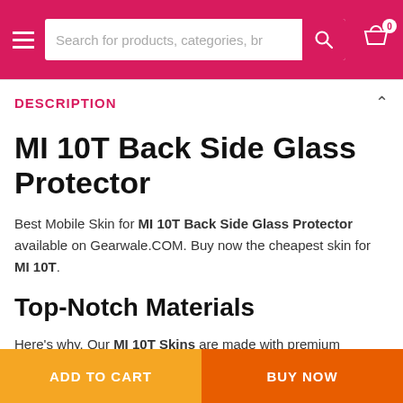Search for products, categories, br
DESCRIPTION
MI 10T Back Side Glass Protector
Best Mobile Skin for MI 10T Back Side Glass Protector available on Gearwale.COM. Buy now the cheapest skin for MI 10T.
Top-Notch Materials
Here's why. Our MI 10T Skins are made with premium materials, the best on the planet. Let's translate that for you. Want to stand out from the crowd with your MI 10T looking and feeling like real
ADD TO CART    BUY NOW